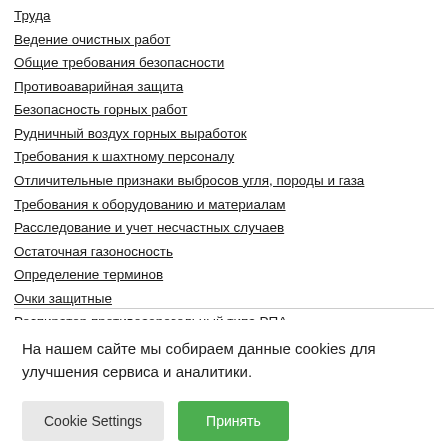Труда
Ведение очистных работ
Общие требования безопасности
Противоаварийная защита
Безопасность горных работ
Рудничный воздух горных выработок
Требования к шахтному персоналу
Отличительные признаки выбросов угля, породы и газа
Требования к оборудованию и материалам
Расследование и учет несчастных случаев
Остаточная газоносность
Определение терминов
Очки защитные
Респиратор противоаэрозольный типа РПА
Борьба с пылью на шахтах Донбасса
На нашем сайте мы собираем данные cookies для улучшения сервиса и аналитики.